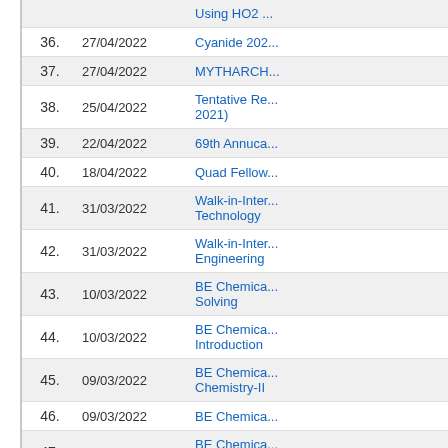| No. | Date | Title |
| --- | --- | --- |
|  |  | Using HO2 ... |
| 36. | 27/04/2022 | Cyanide 202... |
| 37. | 27/04/2022 | MYTHARCH... |
| 38. | 25/04/2022 | Tentative Re... 2021) |
| 39. | 22/04/2022 | 69th Annuca... |
| 40. | 18/04/2022 | Quad Fellow... |
| 41. | 31/03/2022 | Walk-in-Inter... Technology |
| 42. | 31/03/2022 | Walk-in-Inter... Engineering |
| 43. | 10/03/2022 | BE Chemica... Solving |
| 44. | 10/03/2022 | BE Chemica... Introduction |
| 45. | 09/03/2022 | BE Chemica... Chemistry-II |
| 46. | 09/03/2022 | BE Chemica... |
| 47. | 09/03/2022 | BE Chemica... and Electron |